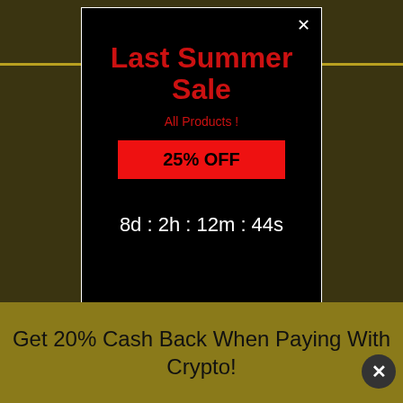Last Summer Sale
All Products !
25% OFF
8d : 2h : 12m : 44s
Ultima-Deca
NANDROLONE DECANOATE 250 MG INJECTION
Get 20% Cash Back When Paying With Crypto!